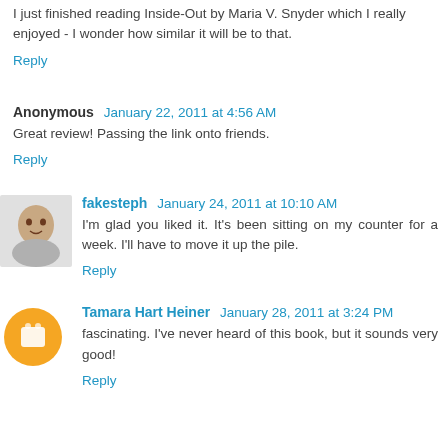I just finished reading Inside-Out by Maria V. Snyder which I really enjoyed - I wonder how similar it will be to that.
Reply
Anonymous  January 22, 2011 at 4:56 AM
Great review! Passing the link onto friends.
Reply
fakesteph  January 24, 2011 at 10:10 AM
I'm glad you liked it. It's been sitting on my counter for a week. I'll have to move it up the pile.
Reply
Tamara Hart Heiner  January 28, 2011 at 3:24 PM
fascinating. I've never heard of this book, but it sounds very good!
Reply